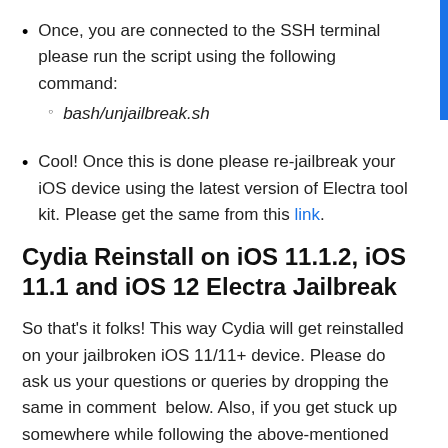Once, you are connected to the SSH terminal please run the script using the following command:
bash/unjailbreak.sh
Cool! Once this is done please re-jailbreak your iOS device using the latest version of Electra tool kit. Please get the same from this link.
Cydia Reinstall on iOS 11.1.2, iOS 11.1 and iOS 12 Electra Jailbreak
So that’s it folks! This way Cydia will get reinstalled on your jailbroken iOS 11/11+ device. Please do ask us your questions or queries by dropping the same in comment  below. Also, if you get stuck up somewhere while following the above-mentioned